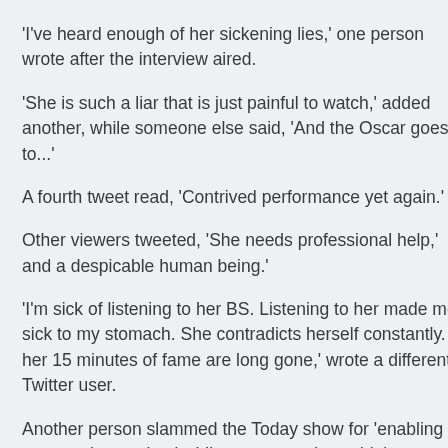'I've heard enough of her sickening lies,' one person wrote after the interview aired.
'She is such a liar that is just painful to watch,' added another, while someone else said, 'And the Oscar goes to...'
A fourth tweet read, 'Contrived performance yet again.'
Other viewers tweeted, 'She needs professional help,' and 'a despicable human being.'
'I'm sick of listening to her BS. Listening to her made me sick to my stomach. She contradicts herself constantly. her 15 minutes of fame are long gone,' wrote a different Twitter user.
Another person slammed the Today show for 'enabling an attention seeker,' while someone else said the network has 'sunk to a new low,' and a third person blasted them for 'giving credit to a manipulative piece of s**t like her.'
'Nobody believes her Savannah. Give it up and stop interviewing her,' responded one disgruntled Twitter user.